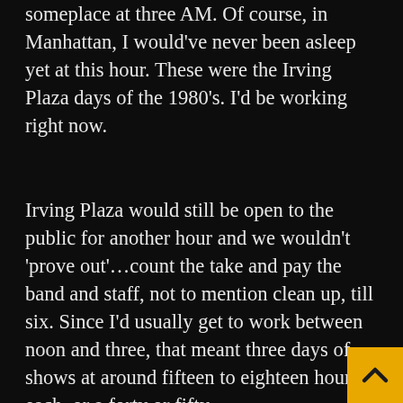someplace at three AM. Of course, in Manhattan, I would've never been asleep yet at this hour. These were the Irving Plaza days of the 1980's. I'd be working right now.
Irving Plaza would still be open to the public for another hour and we wouldn't 'prove out'…count the take and pay the band and staff, not to mention clean up, till six. Since I'd usually get to work between noon and three, that meant three days of shows at around fifteen to eighteen hours each, or a forty or fifty